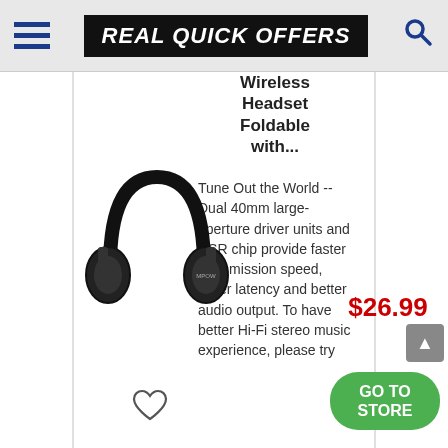REAL QUICK OFFERS
Wireless Headset Foldable with...
[Figure (photo): Black over-ear wireless headphones (Mpow brand) on white background]
Tune Out the World -- Dual 40mm large-aperture driver units and CSR chip provide faster transmission speed, lower latency and better audio output. To have better Hi-Fi stereo music experience, please try
$26.99
GO TO STORE